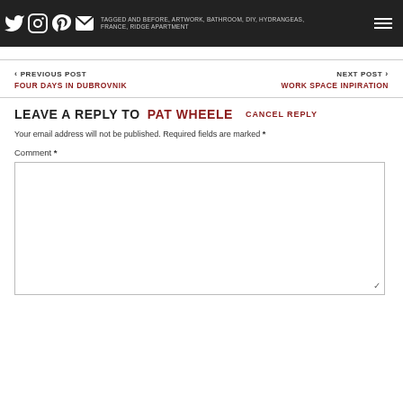TAGGED AND BEFORE, ARTWORK, BATHROOM, DIY, HYDRANGEAS, FRANCE, RIDGE APARTMENT (social icons: Twitter, Instagram, Pinterest, Email; hamburger menu)
< PREVIOUS POST
FOUR DAYS IN DUBROVNIK
> NEXT POST
WORK SPACE INPIRATION
LEAVE A REPLY TO PAT WHEELE   CANCEL REPLY
Your email address will not be published. Required fields are marked *
Comment *